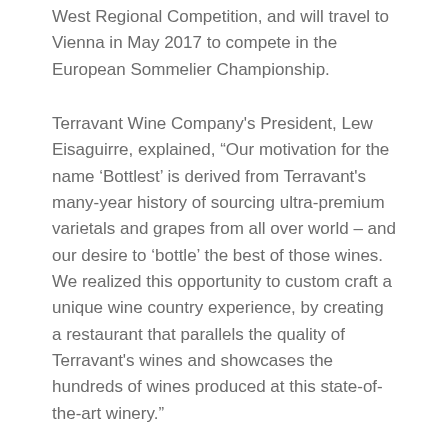West Regional Competition, and will travel to Vienna in May 2017 to compete in the European Sommelier Championship.
Terravant Wine Company's President, Lew Eisaguirre, explained, “Our motivation for the name ‘Bottlest’ is derived from Terravant's many-year history of sourcing ultra-premium varietals and grapes from all over world – and our desire to ‘bottle’ the best of those wines. We realized this opportunity to custom craft a unique wine country experience, by creating a restaurant that parallels the quality of Terravant's wines and showcases the hundreds of wines produced at this state-of-the-art winery.”